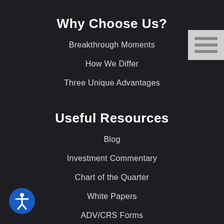Why Choose Us?
Breakthrough Moments
How We Differ
Three Unique Advantages
Useful Resources
Blog
Investment Commentary
Chart of the Quarter
White Papers
ADV/CRS Forms
[Figure (other): Hamburger menu icon — three horizontal lines on a light gray background, top-right corner]
[Figure (other): Blue circular accessibility icon with white person/wheelchair symbol, bottom-left corner]